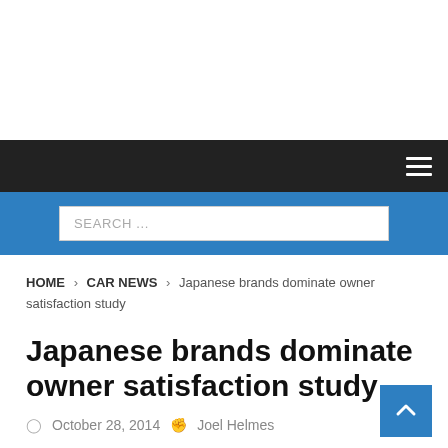Navigation bar
SEARCH ...
HOME > CAR NEWS > Japanese brands dominate owner satisfaction study
Japanese brands dominate owner satisfaction study
October 28, 2014   Joel Helmes